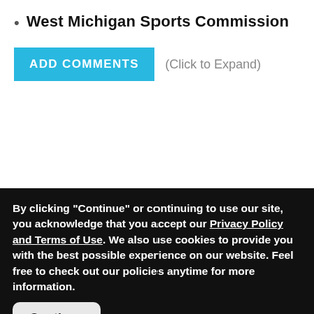West Michigan Sports Commission
ADD COMMENTS  (Click to Expand)
By clicking "Continue" or continuing to use our site, you acknowledge that you accept our Privacy Policy and Terms of Use. We also use cookies to provide you with the best possible experience on our website. Feel free to check out our policies anytime for more information.
Continue